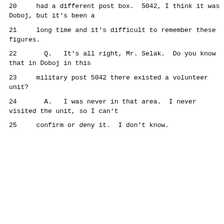20     had a different post box.  5042, I think it was Doboj, but it's been a
21     long time and it's difficult to remember these figures.
22       Q.   It's all right, Mr. Selak.  Do you know that in Doboj in this
23     military post 5042 there existed a volunteer unit?
24       A.   I was never in that area.  I never visited the unit, so I can't
25     confirm or deny it.  I don't know.